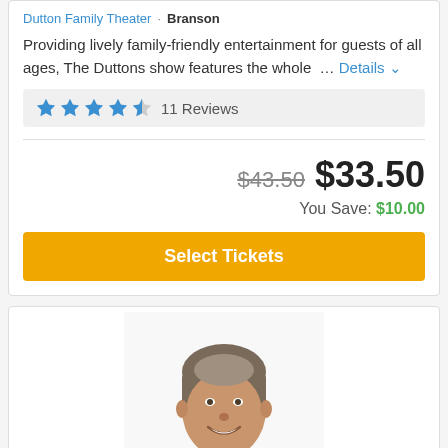Dutton Family Theater · Branson
Providing lively family-friendly entertainment for guests of all ages, The Duttons show features the whole … Details
★★★★½ 11 Reviews
$43.50  $33.50
You Save: $10.00
Select Tickets
[Figure (photo): Headshot of a smiling middle-aged man with gray-brown hair wearing a green shirt, white background]